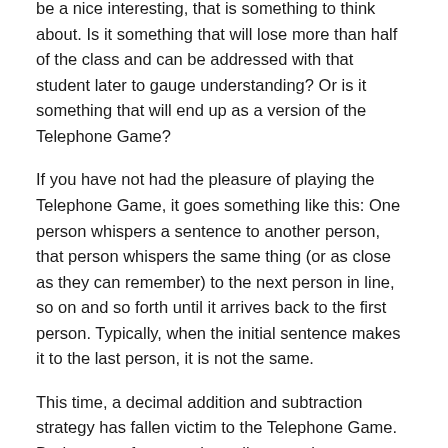be a nice interesting, that is something to think about. Is it something that will lose more than half of the class and can be addressed with that student later to gauge understanding? Or is it something that will end up as a version of the Telephone Game?
If you have not had the pleasure of playing the Telephone Game, it goes something like this: One person whispers a sentence to another person, that person whispers the same thing (or as close as they can remember) to the next person in line, so on and so forth until it arrives back to the first person. Typically, when the initial sentence makes it to the last person, it is not the same.
This time, a decimal addition and subtraction strategy has fallen victim to the Telephone Game. During one of our number talks a week or so ago, a student, let's call her Jane, mentioned that she just "adds and subtracts the...